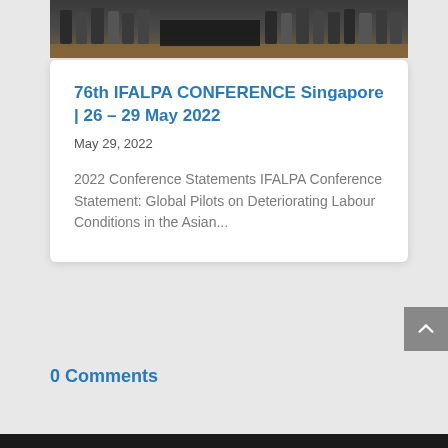[Figure (photo): Group photo of conference attendees standing in a row at the 76th IFALPA Conference in Singapore, taken in a venue with decorative carpet flooring]
76th IFALPA CONFERENCE Singapore | 26 – 29 May 2022
May 29, 2022
2022 Conference Statements IFALPA Conference Statement: Global Pilots on Deteriorating Labour Conditions in the Asian...
0 Comments